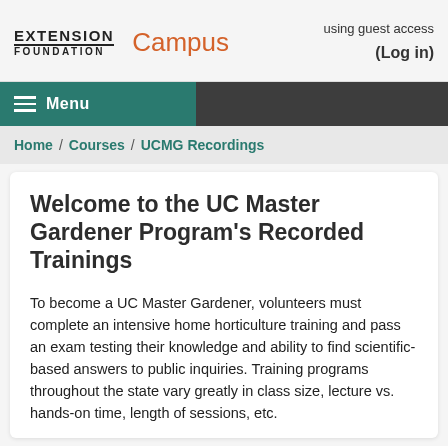EXTENSION FOUNDATION Campus using guest access (Log in)
Menu
Home / Courses / UCMG Recordings
Welcome to the UC Master Gardener Program's Recorded Trainings
To become a UC Master Gardener, volunteers must complete an intensive home horticulture training and pass an exam testing their knowledge and ability to find scientific-based answers to public inquiries. Training programs throughout the state vary greatly in class size, lecture vs. hands-on time, length of sessions, etc.